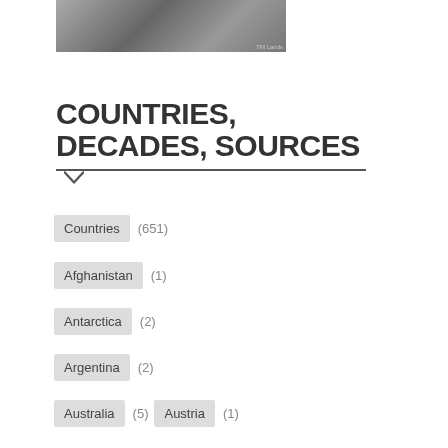[Figure (photo): Partial photo image at top of page]
COUNTRIES, DECADES, SOURCES
Countries (651)
Afghanistan (1)
Antarctica (2)
Argentina (2)
Australia (5)  Austria (1)
Austria-Hungary (3)
Belgium (2)  Brazil (2)
Burma (Myanmar) (1)